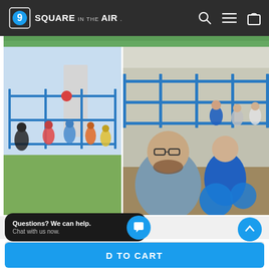[Figure (screenshot): 9 Square in the Air website navigation bar with logo, search icon, hamburger menu, and cart icon on dark background]
[Figure (photo): Two side-by-side photos: left shows children and adults playing 9-Square game on grass outdoors with blue metal frame structure; right shows an indoor selfie of a man with glasses with children and blue exercise balls inside a room with the same blue metal 9-square frame structure]
Questions? We can help. Chat with us now.
D TO CART